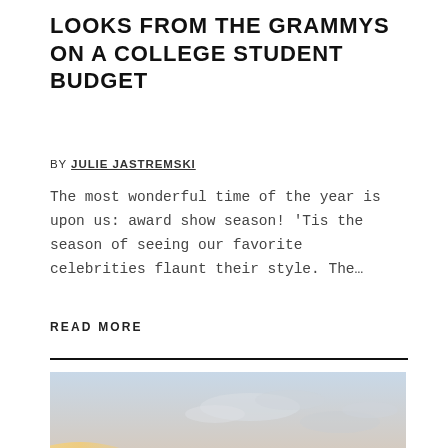LOOKS FROM THE GRAMMYS ON A COLLEGE STUDENT BUDGET
BY JULIE JASTREMSKI
The most wonderful time of the year is upon us: award show season! ‘Tis the season of seeing our favorite celebrities flaunt their style. The…
READ MORE
[Figure (photo): Photo of the Hollywood sign on a hillside with a sunset/golden-hour sky in the background]